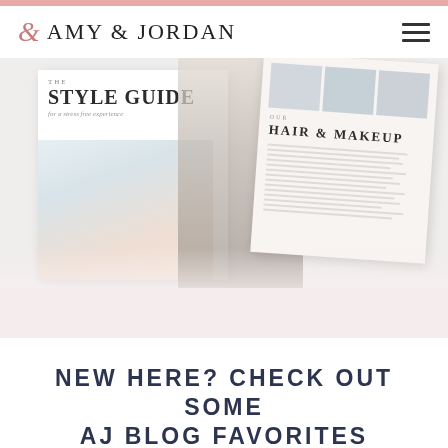Amy & Jordan
[Figure (photo): Style guide mockup showing a family photo, a portrait of a woman in a denim shirt, and a hair & makeup guide page, arranged as overlapping printed pages on a light pink/grey background.]
NEW HERE? CHECK OUT SOME AJ BLOG FAVORITES